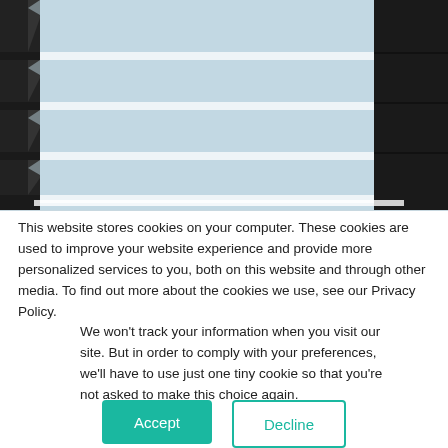[Figure (photo): Architectural photo of a building exterior with dark louvred panels on the sides and a light blue sky visible through the center. Horizontal white/light bands cross the image like blind or shutter slats.]
This website stores cookies on your computer. These cookies are used to improve your website experience and provide more personalized services to you, both on this website and through other media. To find out more about the cookies we use, see our Privacy Policy.
We won't track your information when you visit our site. But in order to comply with your preferences, we'll have to use just one tiny cookie so that you're not asked to make this choice again.